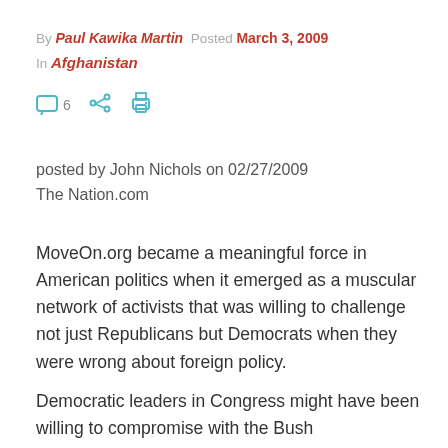By Paul Kawika Martin  Posted March 3, 2009
In Afghanistan
[Figure (other): Social sharing icons: comment bubble with count 6, share icon, print icon]
posted by John Nichols on 02/27/2009
The Nation.com
MoveOn.org became a meaningful force in American politics when it emerged as a muscular network of activists that was willing to challenge not just Republicans but Democrats when they were wrong about foreign policy.
Democratic leaders in Congress might have been willing to compromise with the Bush